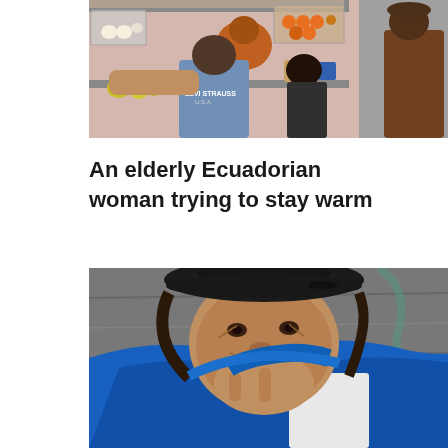[Figure (photo): Street food market scene: people crowding around an outdoor food stall with fruits, bottles and containers visible. A man in a Levi Strauss jacket is seen from behind, and an elderly man stands to the right near a wall.]
An elderly Ecuadorian woman trying to stay warm
[Figure (photo): Close-up portrait of an elderly Ecuadorian woman wearing a black hat and wrapped in a bright blue shawl/blanket, holding it up to her face. The background shows a gray stone pavement.]